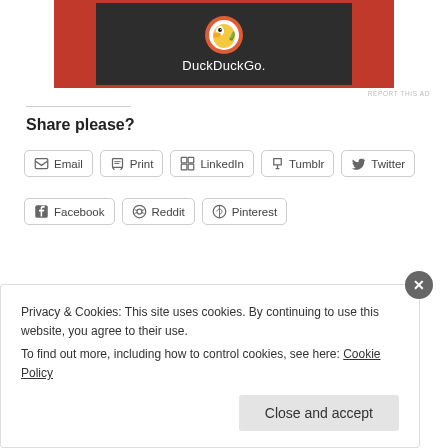[Figure (screenshot): DuckDuckGo advertisement banner with logo and text on dark background with orange border]
REPORT THIS AD
Share please?
Email   Print   LinkedIn   Tumblr   Twitter   Facebook   Reddit   Pinterest
Privacy & Cookies: This site uses cookies. By continuing to use this website, you agree to their use. To find out more, including how to control cookies, see here: Cookie Policy
Close and accept